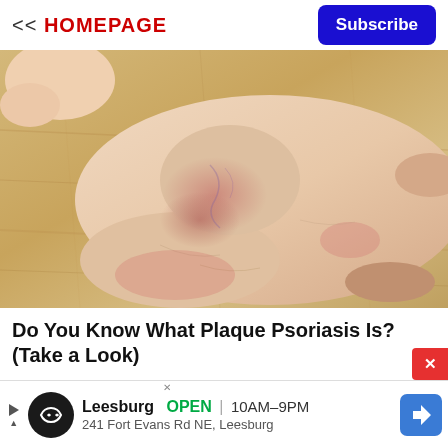<< HOMEPAGE | Subscribe
[Figure (photo): Close-up photo of a human foot and ankle resting on a wooden floor surface, showing reddened, blotchy skin consistent with psoriasis symptoms. One hand is visible holding the ankle.]
Do You Know What Plaque Psoriasis Is? (Take a Look)
Leesburg  OPEN  10AM–9PM | 241 Fort Evans Rd NE, Leesburg